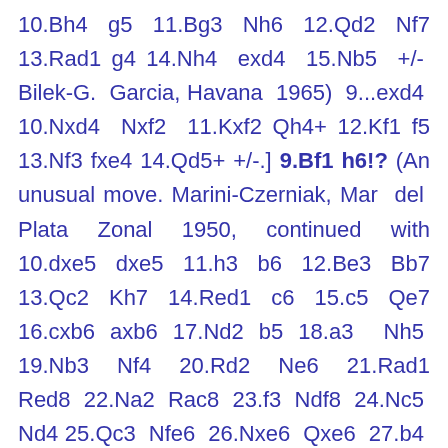10.Bh4 g5 11.Bg3 Nh6 12.Qd2 Nf7 13.Rad1 g4 14.Nh4 exd4 15.Nb5 +/- Bilek-G. Garcia, Havana 1965) 9...exd4 10.Nxd4 Nxf2 11.Kxf2 Qh4+ 12.Kf1 f5 13.Nf3 fxe4 14.Qd5+ +/-.] 9.Bf1 h6!? (An unusual move. Marini-Czerniak, Mar del Plata Zonal 1950, continued with 10.dxe5 dxe5 11.h3 b6 12.Be3 Bb7 13.Qc2 Kh7 14.Red1 c6 15.c5 Qe7 16.cxb6 axb6 17.Nd2 b5 18.a3 Nh5 19.Nb3 Nf4 20.Rd2 Ne6 21.Rad1 Red8 22.Na2 Rac8 23.f3 Ndf8 24.Nc5 Nd4 25.Qc3 Nfe6 26.Nxe6 Qxe6 27.b4 Rc7 28.Nc1 f5 29.Nd3 Qf6 30.f4 fxe4 31.Nxe5 g5 32.fxg5 Qxe5 33.Bxd4 Qxg5 34.Bxg7 Rxd2 35.Qxd2 Qxg7 36.Qf4 c5 37.Qf5+ Qg6 38.Rd7+ Rxd7